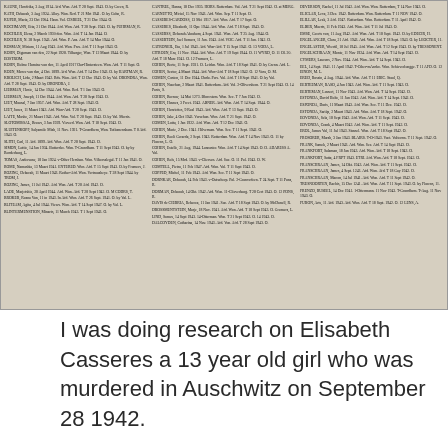[Figure (other): Scanned archival document page showing three columns of small-print registry entries, likely a Holocaust victim or deportee register. Each entry contains a name, birth date, place, and other details. Background is aged beige/tan paper.]
I was doing research on Elisabeth Casseres a 13 year old girl who was murdered in Auschwitz on September 28 1942.